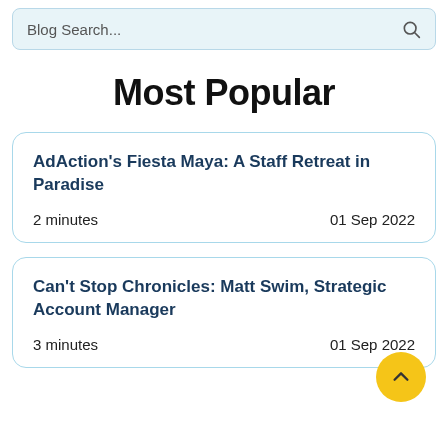Blog Search...
Most Popular
AdAction's Fiesta Maya: A Staff Retreat in Paradise
2 minutes   01 Sep 2022
Can't Stop Chronicles: Matt Swim, Strategic Account Manager
3 minutes   01 Sep 2022